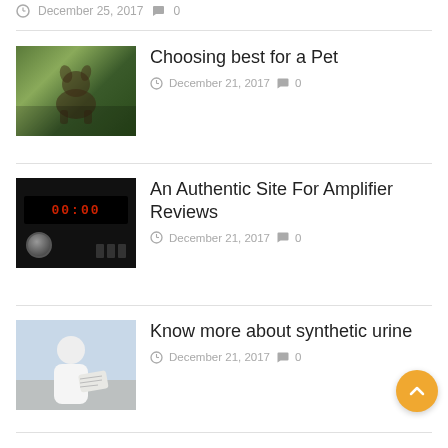December 25, 2017   0
[Figure (photo): Dog running or standing outdoors with green background]
Choosing best for a Pet
December 21, 2017   0
[Figure (photo): Car audio amplifier with red LED display showing 00:00]
An Authentic Site For Amplifier Reviews
December 21, 2017   0
[Figure (photo): Person in white clothing writing or working with papers on a desk]
Know more about synthetic urine
December 21, 2017   0